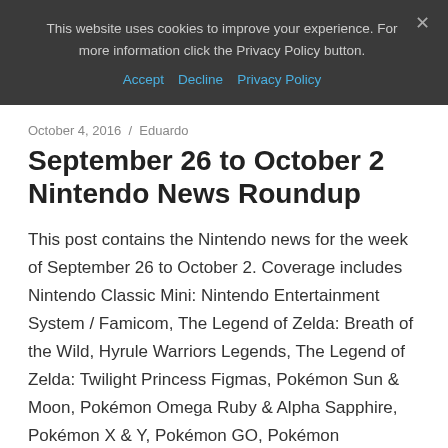This website uses cookies to improve your experience. For more information click the Privacy Policy button. Accept  Decline  Privacy Policy
October 4, 2016  /  Eduardo
September 26 to October 2 Nintendo News Roundup
This post contains the Nintendo news for the week of September 26 to October 2. Coverage includes Nintendo Classic Mini: Nintendo Entertainment System / Famicom, The Legend of Zelda: Breath of the Wild, Hyrule Warriors Legends, The Legend of Zelda: Twilight Princess Figmas, Pokémon Sun & Moon, Pokémon Omega Ruby & Alpha Sapphire, Pokémon X & Y, Pokémon GO, Pokémon Generations, Paper Mario: Color Splash, Virtual Console